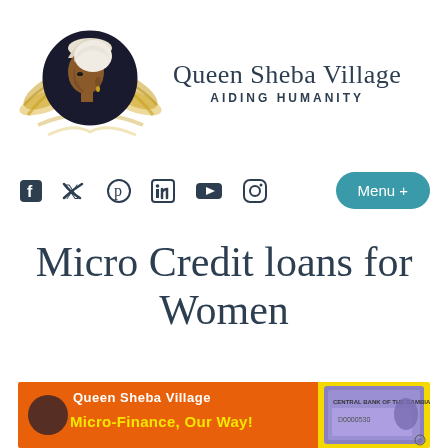[Figure (logo): Queen Sheba Village logo: a circular emblem with a woman's profile in white headwrap on dark background, flanked by golden wing-like decorative elements, with organization name 'Queen Sheba Village' and tagline 'AIDING HUMANITY']
[Figure (infographic): Social media icons (Facebook, Twitter, Pinterest, LinkedIn, YouTube, Instagram) in dark teal, and a teal rounded-rectangle 'Menu +' button on the right]
Micro Credit loans for Women
[Figure (photo): Banner image showing an orange background with 'Queen Sheba Village Micro-Finance, Our Way!' text in yellow/white, and a currency note from The Gambia on the right side]